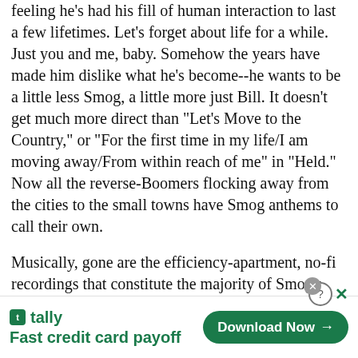feeling he's had his fill of human interaction to last a few lifetimes. Let's forget about life for a while. Just you and me, baby. Somehow the years have made him dislike what he's become--he wants to be a little less Smog, a little more just Bill. It doesn't get much more direct than "Let's Move to the Country," or "For the first time in my life/I am moving away/From within reach of me" in "Held." Now all the reverse-Boomers flocking away from the cities to the small towns have Smog anthems to call their own.
Musically, gone are the efficiency-apartment, no-fi recordings that constitute the majority of Smog's back catalog. Callahan and his Chicago-centric cast move the proceedings of Knock Knock into the studio, and the results are occasionally indulgent and sporadically witless (children's choir?), but the cumulative effect is irrefutable
[Figure (infographic): Advertisement banner for Tally app: green logo icon, 'tally' text, 'Fast credit card payoff' tagline, and a 'Download Now' green button with arrow. Close and help icons visible.]